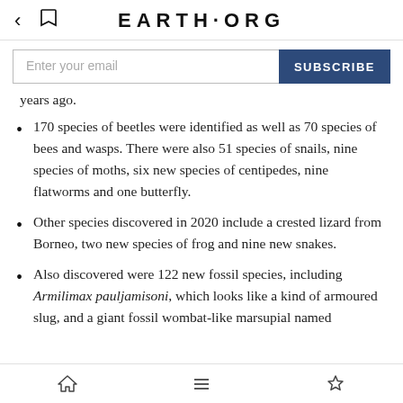EARTH·ORG
Enter your email  SUBSCRIBE
years ago.
170 species of beetles were identified as well as 70 species of bees and wasps. There were also 51 species of snails, nine species of moths, six new species of centipedes, nine flatworms and one butterfly.
Other species discovered in 2020 include a crested lizard from Borneo, two new species of frog and nine new snakes.
Also discovered were 122 new fossil species, including Armilimax pauljamisoni, which looks like a kind of armoured slug, and a giant fossil wombat-like marsupial named
Home  Menu  Bookmark